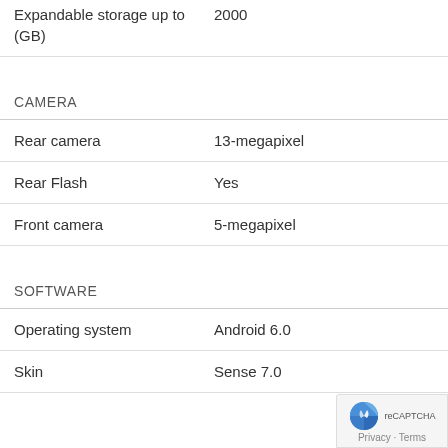| Feature | Value |
| --- | --- |
| Expandable storage up to (GB) | 2000 |
| CAMERA |  |
| Rear camera | 13-megapixel |
| Rear Flash | Yes |
| Front camera | 5-megapixel |
| SOFTWARE |  |
| Operating system | Android 6.0 |
| Skin | Sense 7.0 |